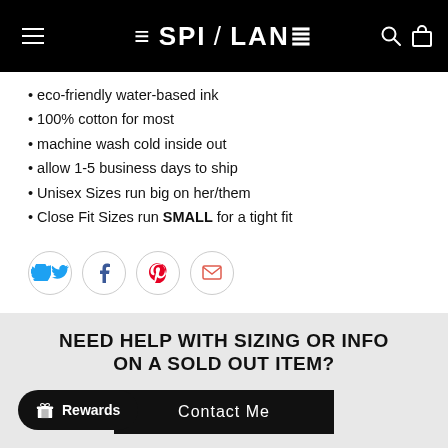ESPI / LANE
eco-friendly water-based ink
100% cotton for most
machine wash cold inside out
allow 1-5 business days to ship
Unisex Sizes run big on her/them
Close Fit Sizes run SMALL for a tight fit
[Figure (other): Social share icons: Twitter, Facebook, Pinterest, Email in circular outlines]
NEED HELP WITH SIZING OR INFO ON A SOLD OUT ITEM?
Contact Me
Rewards